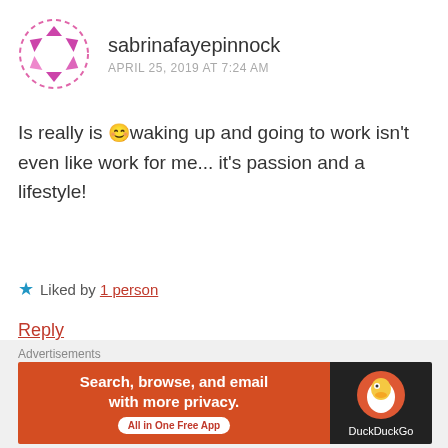[Figure (illustration): Circular avatar image with pink/magenta arrow-like shapes on a white background, outlined with a pink dashed circle border]
sabrinafayepinnock
APRIL 25, 2019 AT 7:24 AM
Is really is 😊waking up and going to work isn't even like work for me... it's passion and a lifestyle!
★ Liked by 1 person
Reply
Advertisements
[Figure (logo): Longreads logo — red circle with L, followed by LONGREADS text]
Bringing you the best stories on the web since 2009.
REPORT THIS AD
Advertisements
[Figure (advertisement): DuckDuckGo advertisement banner: orange left panel with 'Search, browse, and email with more privacy. All in One Free App' and dark right panel with DuckDuckGo duck logo and DuckDuckGo text]